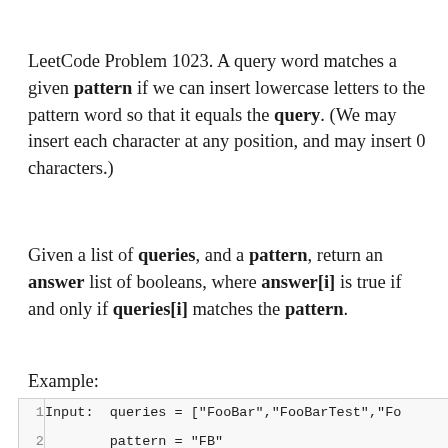LeetCode Problem 1023. A query word matches a given pattern if we can insert lowercase letters to the pattern word so that it equals the query. (We may insert each character at any position, and may insert 0 characters.)
Given a list of queries, and a pattern, return an answer list of booleans, where answer[i] is true if and only if queries[i] matches the pattern.
Example:
[Figure (screenshot): Code block showing lines 1 and 2: line 1: 'Input:  queries = ["FooBar","FooBarTest","Fo' (truncated), line 2: '        pattern = "FB"']